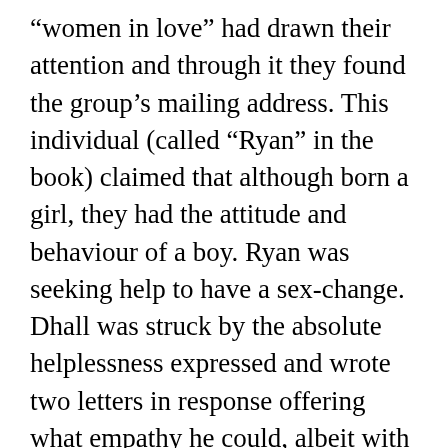“women in love” had drawn their attention and through it they found the group’s mailing address. This individual (called “Ryan” in the book) claimed that although born a girl, they had the attitude and behaviour of a boy. Ryan was seeking help to have a sex-change. Dhall was struck by the absolute helplessness expressed and wrote two letters in response offering what empathy he could, albeit with a clarification that article that inspired the exchange had been about lesbians. Ryan did not write back, leaving much unresolved. Today Dhall is careful not to assign any label to his troubled correspondent—his own understanding has evolved with the changing awareness of a range sexualities and gender identities. This sensitivity is the mark of someone